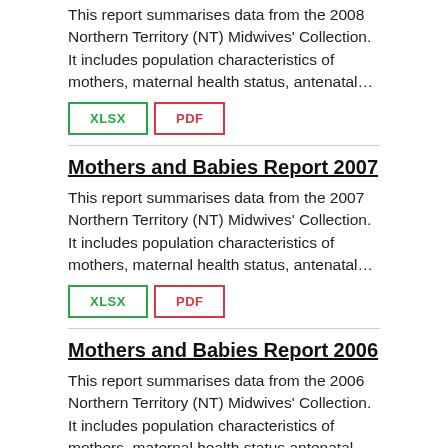This report summarises data from the 2008 Northern Territory (NT) Midwives' Collection. It includes population characteristics of mothers, maternal health status, antenatal…
XLSX
PDF
Mothers and Babies Report 2007
This report summarises data from the 2007 Northern Territory (NT) Midwives' Collection. It includes population characteristics of mothers, maternal health status, antenatal…
XLSX
PDF
Mothers and Babies Report 2006
This report summarises data from the 2006 Northern Territory (NT) Midwives' Collection. It includes population characteristics of mothers, maternal health status,antenatal…